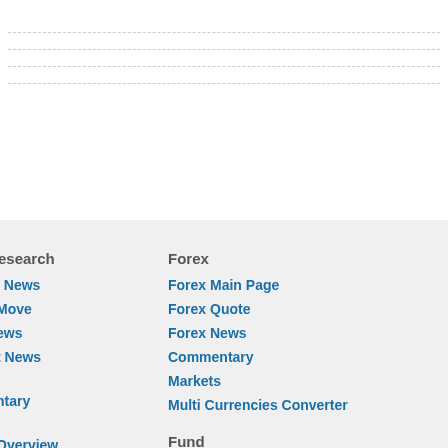esearch
Forex
l News
Forex Main Page
Move
Forex Quote
ews
Forex News
t News
Commentary
Markets
ntary
Multi Currencies Converter
Overview
Fund
imentary